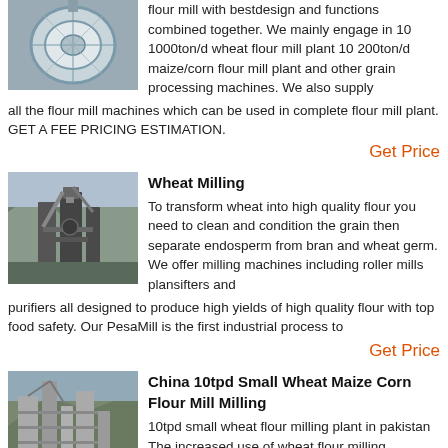[Figure (photo): Circular industrial mill or sieve viewed from above, with metallic equipment visible]
flour mill with bestdesign and functions combined together. We mainly engage in 10 1000ton/d wheat flour mill plant 10 200ton/d maize/corn flour mill plant and other grain processing machines. We also supply all the flour mill machines which can be used in complete flour mill plant. GET A FEE PRICING ESTIMATION.
Get Price
[Figure (photo): Industrial milling plant with large metal structure and machinery against rocky hillside]
Wheat Milling
To transform wheat into high quality flour you need to clean and condition the grain then separate endosperm from bran and wheat germ. We offer milling machines including roller mills plansifters and purifiers all designed to produce high yields of high quality flour with top food safety. Our PesaMill is the first industrial process to
Get Price
[Figure (photo): Industrial flour mill facility with tall concrete structures and mountains in background]
China 10tpd Small Wheat Maize Corn Flour Mill Milling
10tpd small wheat flour milling plant in pakistan The increased use of wheat flour milling machines helps to grind wholesome and healthy wheat flour. Using these machines boost nutritional value and results to highly efficient i...